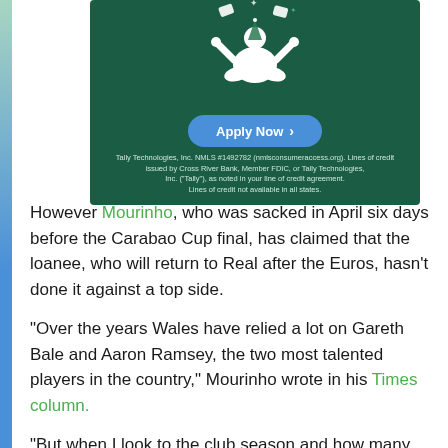[Figure (illustration): Advertisement banner for Tally Technologies with dark green background, illustrated person meditating with cards/money floating above, blue 'Apply Now' button with arrow, and legal disclaimer text at bottom.]
However Mourinho, who was sacked in April six days before the Carabao Cup final, has claimed that the loanee, who will return to Real after the Euros, hasn't done it against a top side.
"Over the years Wales have relied a lot on Gareth Bale and Aaron Ramsey, the two most talented players in the country," Mourinho wrote in his Times column.
"But when I look to the club season and how many matches Ramsey played at Juventus, there were lots of injuries.